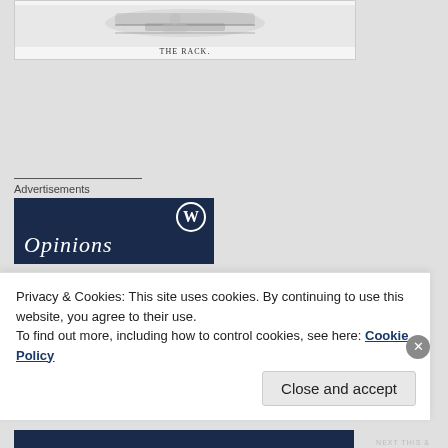[Figure (illustration): Black and white historical engraving of a figure on a rack torture device, captioned 'THE RACK.']
THE RACK.
Advertisements
[Figure (logo): WordPress.com advertisement banner with blue/dark navy background, WordPress logo (W in circle) in top right, and italic text 'Opinions' in white at bottom left.]
Privacy & Cookies: This site uses cookies. By continuing to use this website, you agree to their use.
To find out more, including how to control cookies, see here: Cookie Policy
Close and accept